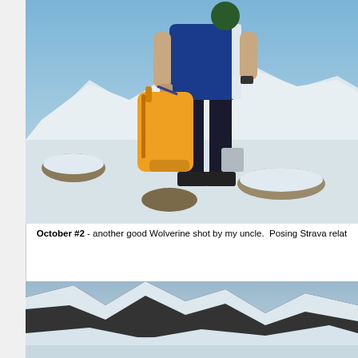[Figure (photo): Person in blue athletic outfit standing on snowy mountain terrain, holding a yellow backpack, with snow-covered mountains in background.]
October #2 - another good Wolverine shot by my uncle.  Posing Strava relat
[Figure (photo): Snow-covered rocky mountain landscape with dark rocky cliffs and snow.]